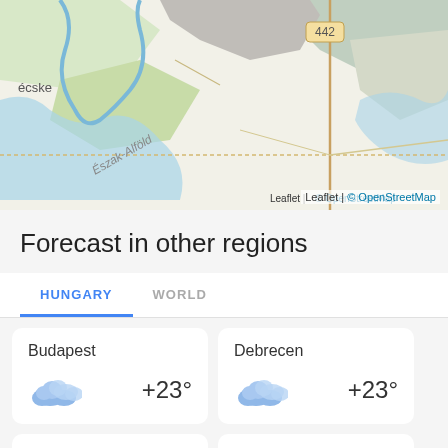[Figure (map): OpenStreetMap tile showing a region in Hungary with road 442 visible, river, Észak-Alföld label, and partial town name 'écske'. Leaflet | © OpenStreetMap attribution at bottom right.]
Forecast in other regions
HUNGARY	WORLD
Budapest
+23°
Debrecen
+23°
Szeged
Pecs